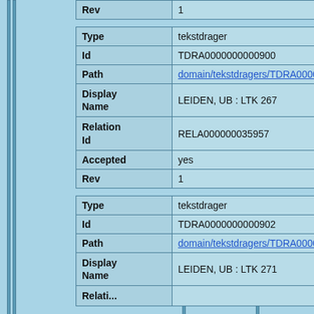| Field | Value |
| --- | --- |
| Rev | 1 |
| Type | tekstdrager |
| Id | TDRA0000000000900 |
| Path | domain/tekstdragers/TDRA0000... |
| Display Name | LEIDEN, UB : LTK 267 |
| Relation Id | RELA000000035957 |
| Accepted | yes |
| Rev | 1 |
| Type | tekstdrager |
| Id | TDRA0000000000902 |
| Path | domain/tekstdragers/TDRA0000... |
| Display Name | LEIDEN, UB : LTK 271 |
| Relation |  |